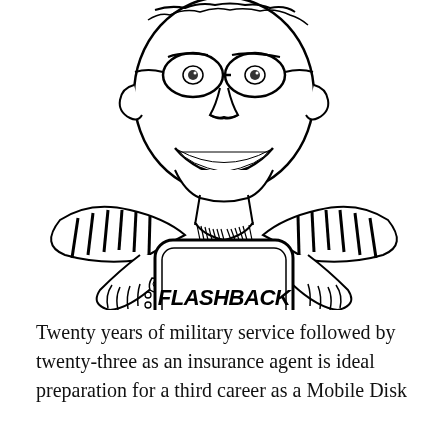[Figure (illustration): Black and white cartoon illustration of a smiling person wearing glasses and a striped scarf, pulling open their shirt to reveal a phone/tablet screen that reads 'FLASHBACK' with a musical note icon below it.]
Twenty years of military service followed by twenty-three as an insurance agent is ideal preparation for a third career as a Mobile Disk